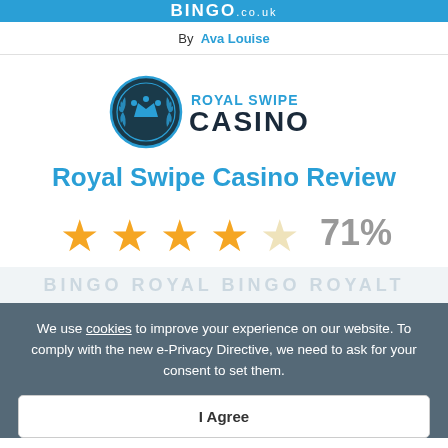BINGO.co.uk
By Ava Louise
[Figure (logo): Royal Swipe Casino logo with blue circular emblem containing a crown and laurel, next to text ROYAL SWIPE CASINO]
Royal Swipe Casino Review
[Figure (infographic): 4 filled gold stars and 1 empty star rating, with 71% score]
We use cookies to improve your experience on our website. To comply with the new e-Privacy Directive, we need to ask for your consent to set them.
I Agree